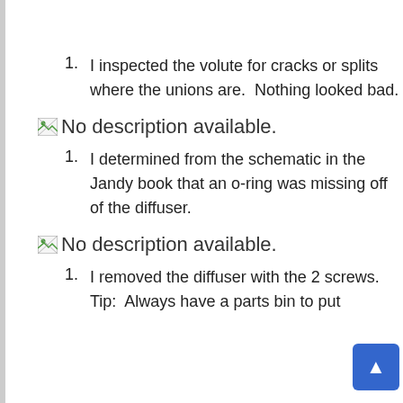I inspected the volute for cracks or splits where the unions are.  Nothing looked bad.
[Figure (photo): Image placeholder with broken image icon and text: No description available.]
I determined from the schematic in the Jandy book that an o-ring was missing off of the diffuser.
[Figure (photo): Image placeholder with broken image icon and text: No description available.]
I removed the diffuser with the 2 screws.  Tip:  Always have a parts bin to put